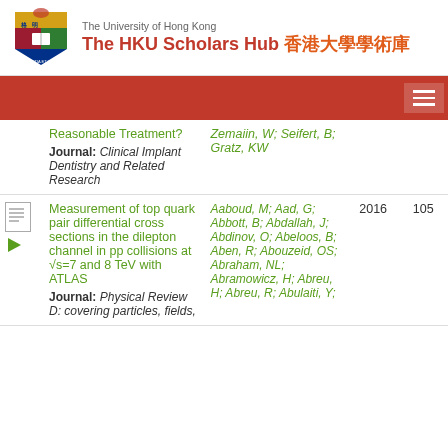The University of Hong Kong — The HKU Scholars Hub 香港大學學術庫
|  | Title/Journal | Authors | Year | Citations |
| --- | --- | --- | --- | --- |
|  | Reasonable Treatment?
Journal: Clinical Implant Dentistry and Related Research | Zemaiin, W; Seifert, B; Gratz, KW |  |  |
|  | Measurement of top quark pair differential cross sections in the dilepton channel in pp collisions at √s=7 and 8 TeV with ATLAS
Journal: Physical Review D: covering particles, fields, | Aaboud, M; Aad, G; Abbott, B; Abdallah, J; Abdinov, O; Abeloos, B; Aben, R; Abouzeid, OS; Abraham, NL; Abramowicz, H; Abreu, H; Abreu, R; Abulaiti, Y; | 2016 | 105 |